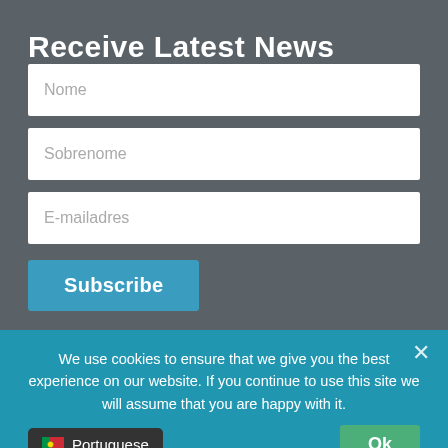Receive Latest News
Nome
Sobrenome
E-mailadres
Subscribe
We use cookies to ensure that we give you the best experience on our website. If you continue to use this site we will assume that you are happy with it.
Portuguese
Ok